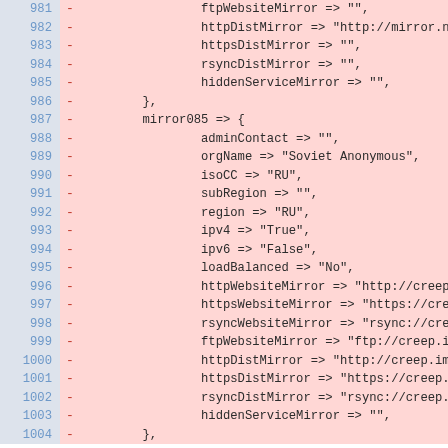Diff/code view showing lines 981-1004 of a configuration file with mirror server settings. All lines are marked as removed (red background). Lines include: ftpWebsiteMirror, httpDistMirror, httpsDistMirror, rsyncDistMirror, hiddenServiceMirror fields, closing brace, mirror085 block with adminContact, orgName 'Soviet Anonymous', isoCC 'RU', subRegion, region 'RU', ipv4 'True', ipv6 'False', loadBalanced 'No', httpWebsiteMirror, httpsWebsiteMirror, rsyncWebsiteMirror, ftpWebsiteMirror, httpDistMirror, httpsDistMirror, rsyncDistMirror, hiddenServiceMirror, closing brace.